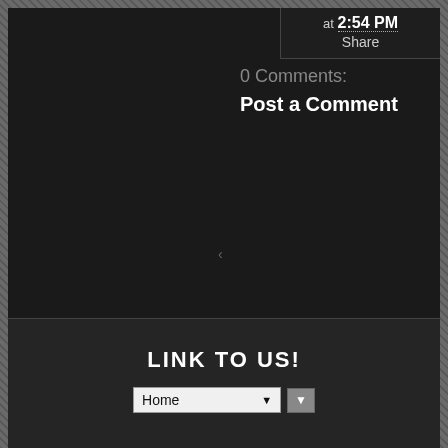at 2:54 PM
Share
0 Comments:
Post a Comment
LINK TO US!
Home
Copyright © 2022 The Crypto Crew
Powered by Blogger